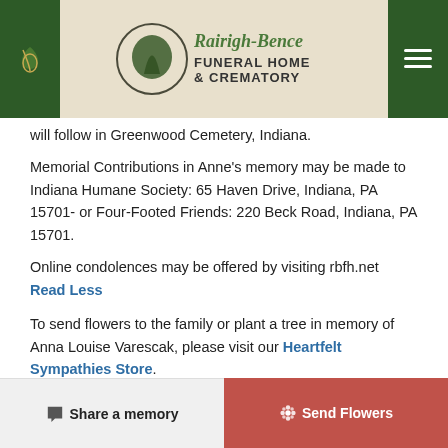Rairigh-Bence Funeral Home & Crematory
will follow in Greenwood Cemetery, Indiana.
Memorial Contributions in Anne’s memory may be made to Indiana Humane Society: 65 Haven Drive, Indiana, PA 15701- or Four-Footed Friends: 220 Beck Road, Indiana, PA 15701.
Online condolences may be offered by visiting rbfh.net Read Less
To send flowers to the family or plant a tree in memory of Anna Louise Varescak, please visit our Heartfelt Sympathies Store.
Service Details
Share a memory   Send Flowers